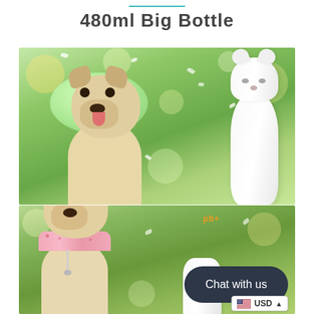480ml Big Bottle
[Figure (photo): French bulldog sitting on green grass with cherry blossom petals floating in air, next to a white cat-shaped water bottle. A green bubble overlay shows '480ml'.]
[Figure (photo): French bulldog puppy with pink floral bandana sitting on green grass. Orange 'pb+' logo and dark 'Chat with us' bubble overlay visible. USD currency selector in bottom right corner.]